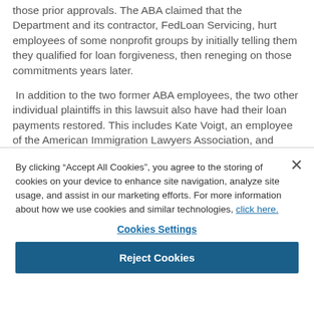those prior approvals. The ABA claimed that the Department and its contractor, FedLoan Servicing, hurt employees of some nonprofit groups by initially telling them they qualified for loan forgiveness, then reneging on those commitments years later.
In addition to the two former ABA employees, the two other individual plaintiffs in this lawsuit also have had their loan payments restored. This includes Kate Voigt, an employee of the American Immigration Lawyers Association, and Jamie Rudert, a former employee of Vietnam Veterans of America. Notably, in Judge Kelly's February ruling, Mr. Rudert was initially not granted the same relief as the other plaintiffs in the case. The
By clicking “Accept All Cookies”, you agree to the storing of cookies on your device to enhance site navigation, analyze site usage, and assist in our marketing efforts. For more information about how we use cookies and similar technologies, click here.
Cookies Settings
Reject Cookies